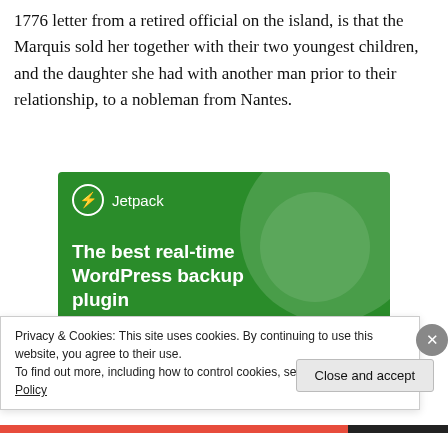1776 letter from a retired official on the island, is that the Marquis sold her together with their two youngest children, and the daughter she had with another man prior to their relationship, to a nobleman from Nantes.
[Figure (illustration): Jetpack advertisement banner with green background. Shows Jetpack logo (lightning bolt in circle) and brand name at top. Decorative light green circles in background. Headline reads 'The best real-time WordPress backup plugin'. White button at bottom reads 'Back up your site'.]
Privacy & Cookies: This site uses cookies. By continuing to use this website, you agree to their use.
To find out more, including how to control cookies, see here: Cookie Policy
Close and accept